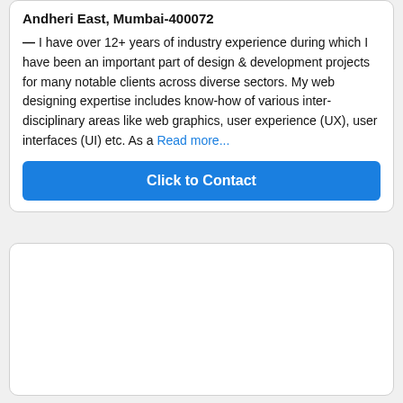Andheri East, Mumbai-400072
— I have over 12+ years of industry experience during which I have been an important part of design & development projects for many notable clients across diverse sectors. My web designing expertise includes know-how of various inter-disciplinary areas like web graphics, user experience (UX), user interfaces (UI) etc. As a Read more...
Click to Contact
[Figure (other): Empty white card/box at the bottom of the page]